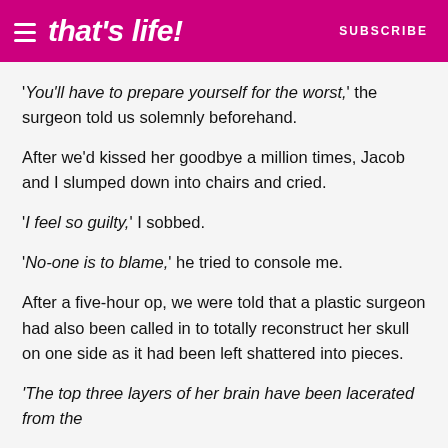that's life! SUBSCRIBE
'You'll have to prepare yourself for the worst,' the surgeon told us solemnly beforehand.
After we'd kissed her goodbye a million times, Jacob and I slumped down into chairs and cried.
'I feel so guilty,' I sobbed.
'No-one is to blame,' he tried to console me.
After a five-hour op, we were told that a plastic surgeon had also been called in to totally reconstruct her skull on one side as it had been left shattered into pieces.
'The top three layers of her brain have been lacerated from the